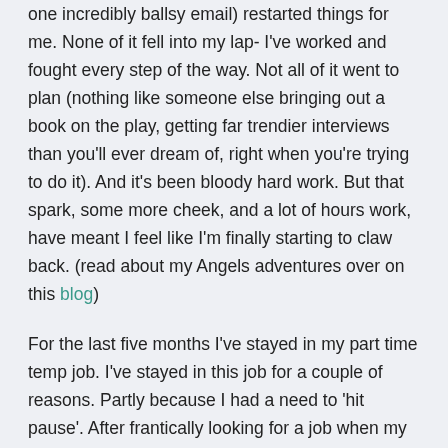one incredibly ballsy email) restarted things for me. None of it fell into my lap- I've worked and fought every step of the way. Not all of it went to plan (nothing like someone else bringing out a book on the play, getting far trendier interviews than you'll ever dream of, right when you're trying to do it). And it's been bloody hard work. But that spark, some more cheek, and a lot of hours work, have meant I feel like I'm finally starting to claw back. (read about my Angels adventures over on this blog)
For the last five months I've stayed in my part time temp job. I've stayed in this job for a couple of reasons. Partly because I had a need to 'hit pause'. After frantically looking for a job when my last ended, failing to do that. And then suffering a major blow at the hands of another job (here). I was done. Two years post-PhD and the jungle of the self-funded, never ending